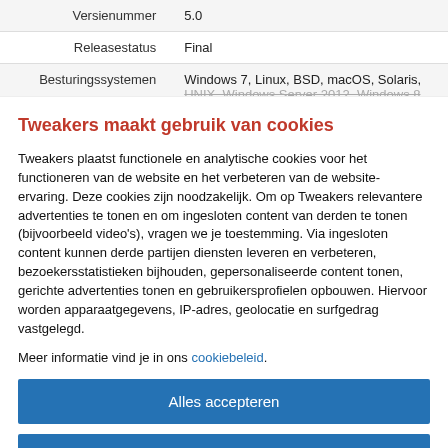|  |  |
| --- | --- |
| Versienummer | 5.0 |
| Releasestatus | Final |
| Besturingssystemen | Windows 7, Linux, BSD, macOS, Solaris, UNIX, Windows Server 2012, Windows 8 |
Tweakers maakt gebruik van cookies
Tweakers plaatst functionele en analytische cookies voor het functioneren van de website en het verbeteren van de website-ervaring. Deze cookies zijn noodzakelijk. Om op Tweakers relevantere advertenties te tonen en om ingesloten content van derden te tonen (bijvoorbeeld video's), vragen we je toestemming. Via ingesloten content kunnen derde partijen diensten leveren en verbeteren, bezoekersstatistieken bijhouden, gepersonaliseerde content tonen, gerichte advertenties tonen en gebruikersprofielen opbouwen. Hiervoor worden apparaatgegevens, IP-adres, geolocatie en surfgedrag vastgelegd.
Meer informatie vind je in ons cookiebeleid.
Alles accepteren
Alleen noodzakelijk
Voorkeuren aanpassen